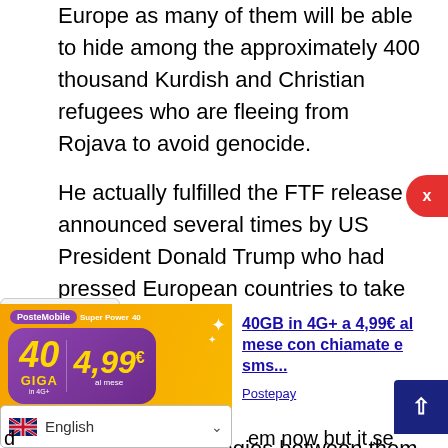Europe as many of them will be able to hide among the approximately 400 thousand Kurdish and Christian refugees who are fleeing from Rojava to avoid genocide.
He actually fulfilled the FTF release announced several times by US President Donald Trump who had pressed European countries to take them back: even a few hours before the bombing of Ain Issa in a phone call to the leaders of France and Germany, as if there were perfect synchronism of strategies between them ...
[Figure (photo): PosteMobile Super Power 40 advertisement banner showing 40 GIGA in 4G+ for 4.99 euro al mese]
40GB in 4G+ a 4,99€ al mese con chiamate e sms...
Postepay
English
d...
em now but it seems a